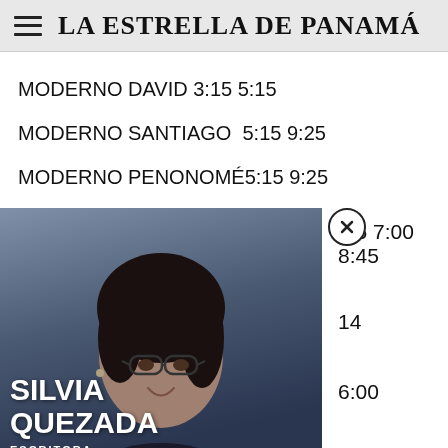LA ESTRELLA DE PANAMÁ
MODERNO DAVID 3:15 5:15
MODERNO SANTIAGO  5:15 9:25
MODERNO PENONOMÉ5:15 9:25
:45 7:00 8:45
14
6:00
[Figure (photo): Popup overlay showing a woman smiling, wearing glasses, identified as Silvia Quezada, Escritora, with a MIA YouTube promotional banner at the bottom. A close (X) button is visible at the top right of the popup.]